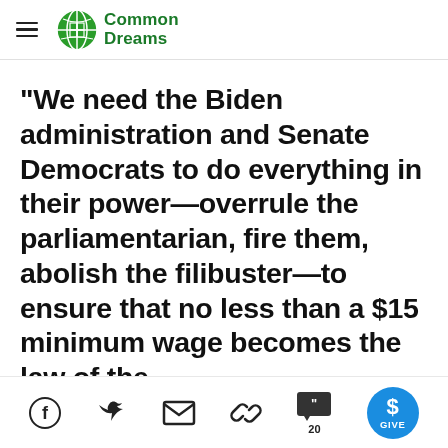Common Dreams
"We need the Biden administration and Senate Democrats to do everything in their power—overrule the parliamentarian, fire them, abolish the filibuster—to ensure that no less than a $15 minimum wage becomes the law of the
Social share icons: Facebook, Twitter, Email, Link, Comments (20), Give